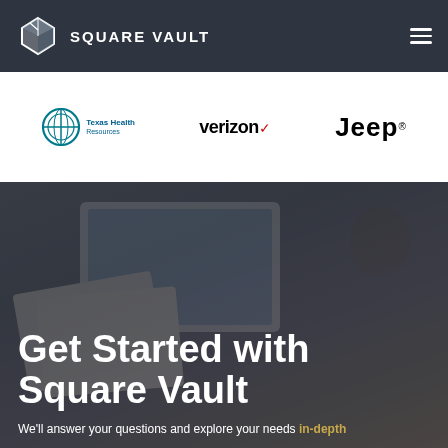SQUARE VAULT
[Figure (logo): Texas Health Resources logo]
[Figure (logo): Verizon logo with red checkmark]
[Figure (logo): Jeep logo]
Get Started with Square Vault
We'll answer your questions and explore your needs in-depth